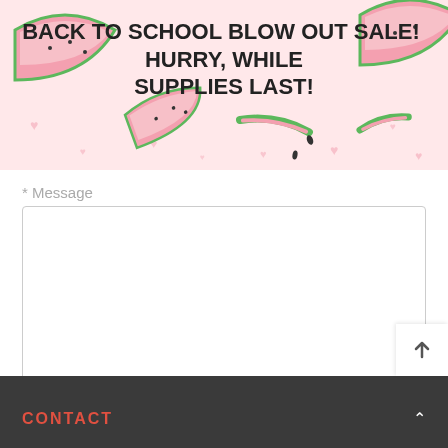BACK TO SCHOOL BLOW OUT SALE!  HURRY, WHILE SUPPLIES LAST!
[Figure (illustration): Decorative banner background with watermelon slices and pink hearts on a light pink background]
* Message
[Figure (other): Message textarea input box, empty, with resize handle]
[Figure (other): Five yellow star rating icons]
[Figure (other): Submit a Review button (red/orange) and paperclip attachment button (red/orange)]
CONTACT